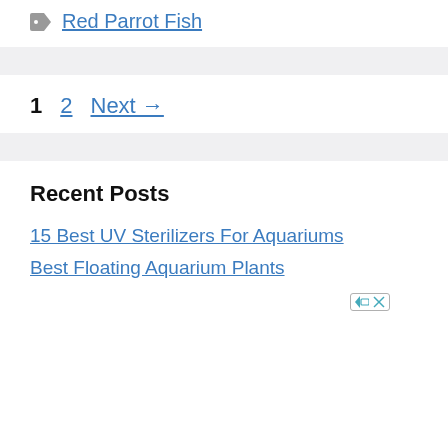Red Parrot Fish
1  2  Next →
Recent Posts
15 Best UV Sterilizers For Aquariums
Best Floating Aquarium Plants